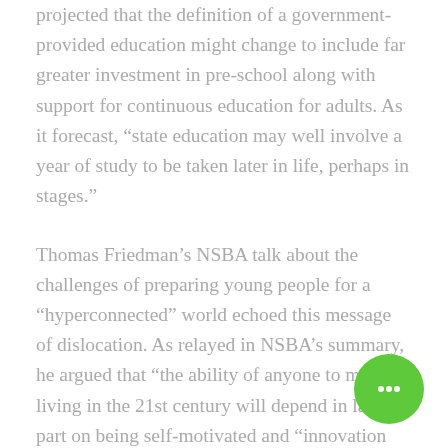projected that the definition of a government-provided education might change to include far greater investment in pre-school along with support for continuous education for adults. As it forecast, “state education may well involve a year of study to be taken later in life, perhaps in stages.”
Thomas Friedman’s NSBA talk about the challenges of preparing young people for a “hyperconnected” world echoed this message of dislocation. As relayed in NSBA’s summary, he argued that “the ability of anyone to make a living in the 21st century will depend in large part on being self-motivated and “innovation ready’” because we will be moving from a paradigm of finding jobs to one of creating them.
[Figure (other): Green circular chat bubble button in bottom right corner]